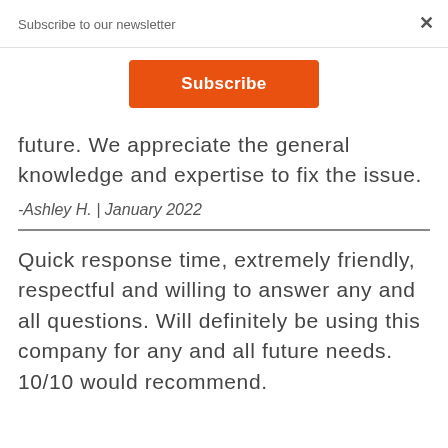Subscribe to our newsletter
Subscribe
future. We appreciate the general knowledge and expertise to fix the issue.
-Ashley H.  |  January 2022
Quick response time, extremely friendly, respectful and willing to answer any and all questions. Will definitely be using this company for any and all future needs. 10/10 would recommend.